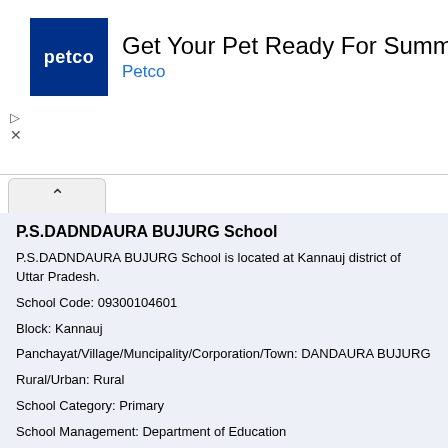[Figure (illustration): Petco advertisement banner with blue Petco logo, text 'Get Your Pet Ready For Summer' and 'Petco' subtitle, and a blue diamond-shaped navigation arrow icon on the right]
P.S.DADNDAURA BUJURG School
P.S.DADNDAURA BUJURG School is located at Kannauj district of Uttar Pradesh.
School Code: 09300104601
Block: Kannauj
Panchayat/Village/Muncipality/Corporation/Town: DANDAURA BUJURG
Rural/Urban: Rural
School Category: Primary
School Management: Department of Education